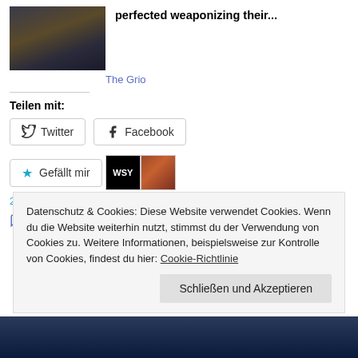[Figure (photo): Photo of a person wearing a gold/yellow jacket, dark background]
perfected weaponizing their...
The Grio
Teilen mit:
Twitter
Facebook
Gefällt mir
2 Bloggern gefällt das.
Hinterlasse einen Kommentar
Datenschutz & Cookies: Diese Website verwendet Cookies. Wenn du die Website weiterhin nutzt, stimmst du der Verwendung von Cookies zu. Weitere Informationen, beispielsweise zur Kontrolle von Cookies, findest du hier: Cookie-Richtlinie
Schließen und Akzeptieren
[Figure (photo): Partial photo visible at bottom of page]